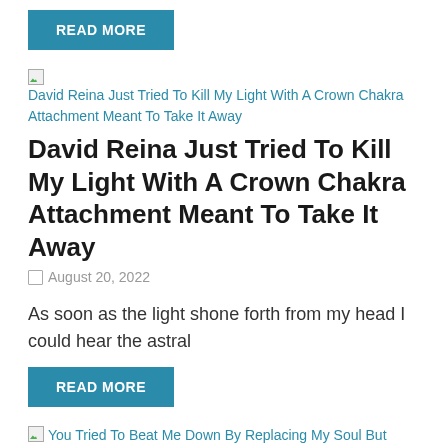READ MORE
[Figure (illustration): Broken image placeholder with link text: David Reina Just Tried To Kill My Light With A Crown Chakra Attachment Meant To Take It Away]
David Reina Just Tried To Kill My Light With A Crown Chakra Attachment Meant To Take It Away
August 20, 2022
As soon as the light shone forth from my head I could hear the astral
READ MORE
[Figure (illustration): Broken image placeholder with link text: You Tried To Beat Me Down By Replacing My Soul But]